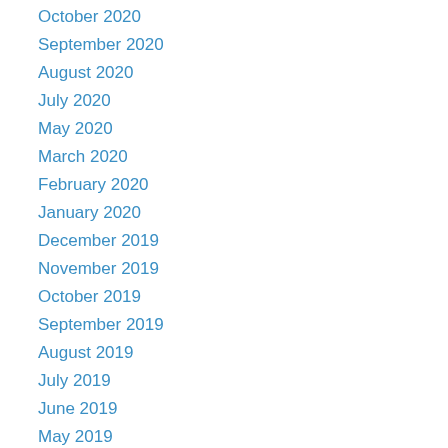October 2020
September 2020
August 2020
July 2020
May 2020
March 2020
February 2020
January 2020
December 2019
November 2019
October 2019
September 2019
August 2019
July 2019
June 2019
May 2019
April 2019
March 2019
February 2019
January 2019